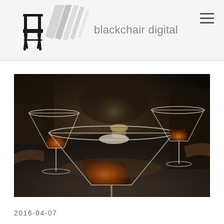blackchair digital
[Figure (photo): Overhead/table-level photo of three martini glasses filled with dark amber cocktails resting on a dark bar table, with people's hands and torsos visible in the background under warm dramatic lighting.]
2016-04-07